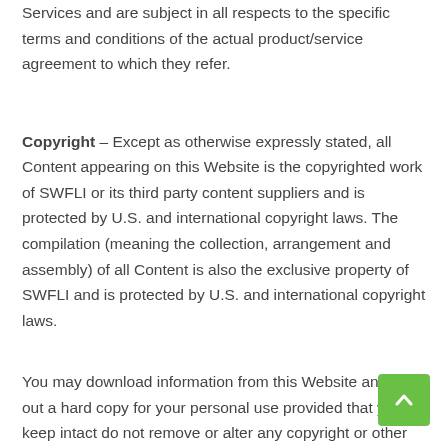Services and are subject in all respects to the specific terms and conditions of the actual product/service agreement to which they refer.
Copyright – Except as otherwise expressly stated, all Content appearing on this Website is the copyrighted work of SWFLI or its third party content suppliers and is protected by U.S. and international copyright laws. The compilation (meaning the collection, arrangement and assembly) of all Content is also the exclusive property of SWFLI and is protected by U.S. and international copyright laws.
You may download information from this Website and print out a hard copy for your personal use provided that you keep intact do not remove or alter any copyright or other notice (e.g., trademark, patent, etc.) contained in the information. Except as